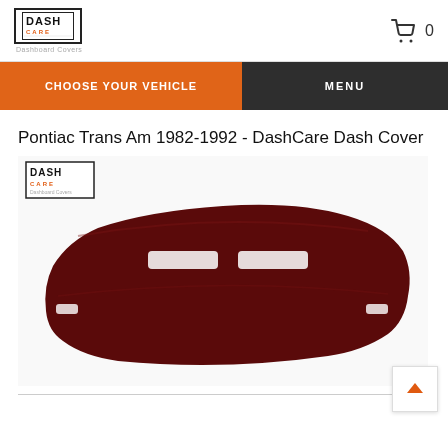DashCare Dashboard Covers — Cart: 0
CHOOSE YOUR VEHICLE | MENU
Pontiac Trans Am 1982-1992 - DashCare Dash Cover
[Figure (photo): A dark maroon/burgundy dash cover for a Pontiac Trans Am 1982-1992, shown flat with cutouts for vents and defroster. DashCare logo in upper left of image.]